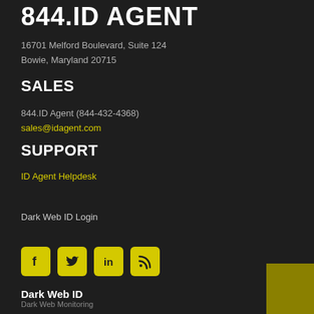844.ID AGENT
16701 Melford Boulevard, Suite 124
Bowie, Maryland 20715
SALES
844.ID Agent (844-432-4368)
sales@idagent.com
SUPPORT
ID Agent Helpdesk
Dark Web ID Login
[Figure (other): Social media icons: Facebook, Twitter, LinkedIn, RSS feed — all in yellow on dark background]
Dark Web ID
Dark Web Monitoring